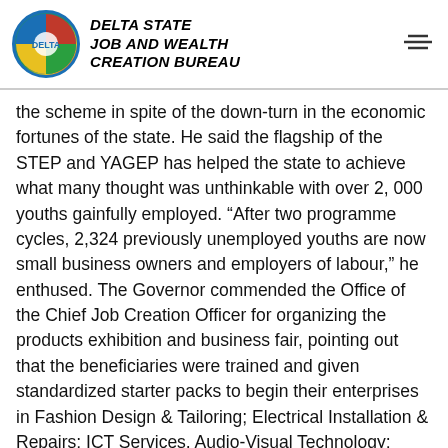DELTA STATE JOB AND WEALTH CREATION BUREAU
the scheme in spite of the down-turn in the economic fortunes of the state. He said the flagship of the STEP and YAGEP has helped the state to achieve what many thought was unthinkable with over 2, 000 youths gainfully employed. “After two programme cycles, 2,324 previously unemployed youths are now small business owners and employers of labour,” he enthused. The Governor commended the Office of the Chief Job Creation Officer for organizing the products exhibition and business fair, pointing out that the beneficiaries were trained and given standardized starter packs to begin their enterprises in Fashion Design & Tailoring; Electrical Installation & Repairs; ICT Services, Audio-Visual Technology; Hairdressing & Makeover; Decoration & Event Management; Catering &